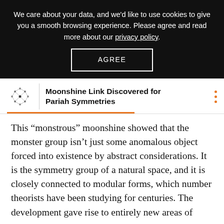We care about your data, and we'd like to use cookies to give you a smooth browsing experience. Please agree and read more about our privacy policy.
AGREE
Moonshine Link Discovered for Pariah Symmetries
This “monstrous” moonshine showed that the monster group isn’t just some anomalous object forced into existence by abstract considerations. It is the symmetry group of a natural space, and it is closely connected to modular forms, which number theorists have been studying for centuries. The development gave rise to entirely new areas of